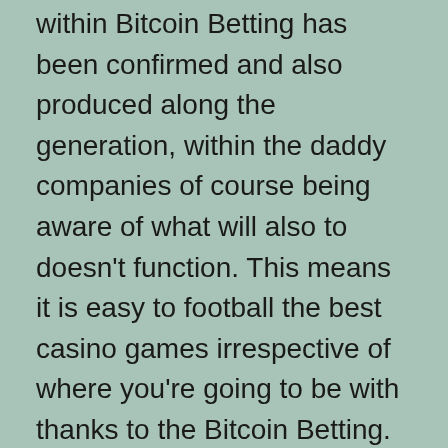within Bitcoin Betting has been confirmed and also produced along the generation, within the daddy companies of course being aware of what will also to doesn't function. This means it is easy to football the best casino games irrespective of where you're going to be with thanks to the Bitcoin Betting. All of these cryptocurrencies could also be used and create a departure.
Wealthy roller offers are capable of the players due to how big is bank moves and to exactly who thinking about gambling huge amounts of dollars. On top of the strategy of a large amount...